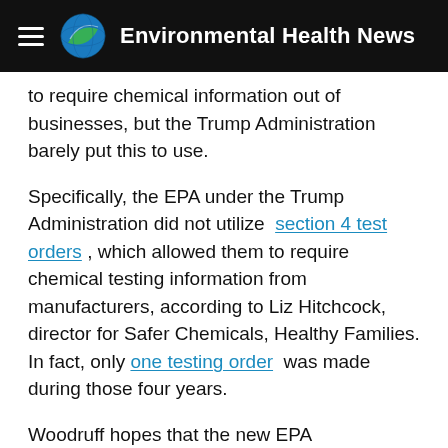Environmental Health News
to require chemical information out of businesses, but the Trump Administration barely put this to use.
Specifically, the EPA under the Trump Administration did not utilize section 4 test orders , which allowed them to require chemical testing information from manufacturers, according to Liz Hitchcock, director for Safer Chemicals, Healthy Families. In fact, only one testing order was made during those four years.
Woodruff hopes that the new EPA administration, led by Michael S. Regan, will take full advantage of TSCA's 2016 amendments, better evaluating Confidential Business Information (CBI) claims and